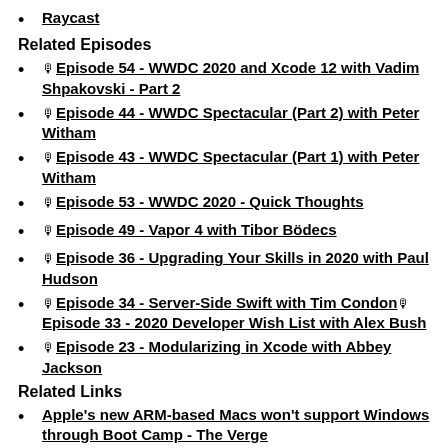Raycast
Related Episodes
🎙Episode 54 - WWDC 2020 and Xcode 12 with Vadim Shpakovski - Part 2
🎙Episode 44 - WWDC Spectacular (Part 2) with Peter Witham
🎙Episode 43 - WWDC Spectacular (Part 1) with Peter Witham
🎙Episode 53 - WWDC 2020 - Quick Thoughts
🎙Episode 49 - Vapor 4 with Tibor Bödecs
🎙Episode 36 - Upgrading Your Skills in 2020 with Paul Hudson
🎙Episode 34 - Server-Side Swift with Tim Condon🎙Episode 33 - 2020 Developer Wish List with Alex Bush
🎙Episode 23 - Modularizing in Xcode with Abbey Jackson
Related Links
Apple's new ARM-based Macs won't support Windows through Boot Camp - The Verge
🐦@brianstucki asks which open source software do you need updated for Apple Silicon